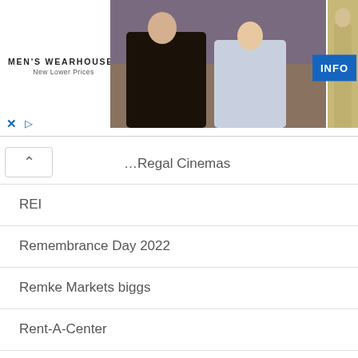[Figure (photo): Men's Wearhouse advertisement banner showing a couple in formal wear and a man in a tan suit, with an INFO button and Men's Wearhouse logo with 'New Lower Prices' tagline]
Regal Cinemas
REI
Remembrance Day 2022
Remke Markets biggs
Rent-A-Center
Restoration Hardware
RibCrib BBQ
Ribeyes Steakhouse
Rita's Italian Ice
Rite Aid
Rocky Rococo Pizza